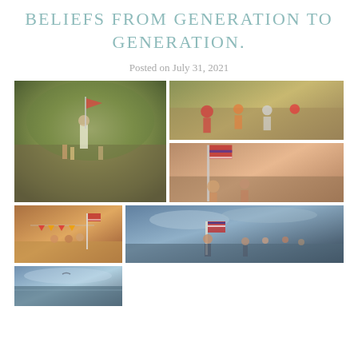BELIEFS FROM GENERATION TO GENERATION.
Posted on July 31, 2021
[Figure (photo): Vintage color photo of a man leading children through a grassy outdoor area, appears to be carrying a flag]
[Figure (photo): Vintage color photo of people running in a race or parade outdoors]
[Figure (photo): Vintage color photo of people carrying an American flag in a parade or run]
[Figure (photo): Vintage color photo of people gathered around a campfire with an American flag and colorful pennant decorations]
[Figure (photo): Vintage color photo of people running across a field carrying an American flag under cloudy sky]
[Figure (photo): Vintage photo of a waterfront or lake scene, partially visible]